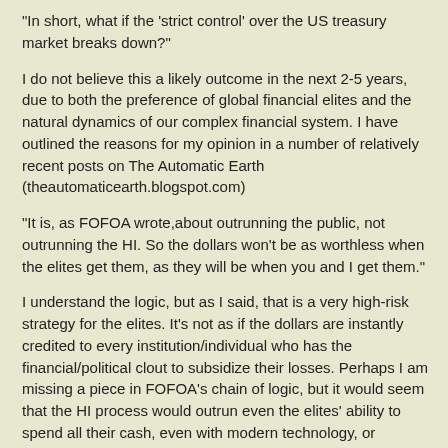"In short, what if the 'strict control' over the US treasury market breaks down?"
I do not believe this a likely outcome in the next 2-5 years, due to both the preference of global financial elites and the natural dynamics of our complex financial system. I have outlined the reasons for my opinion in a number of relatively recent posts on The Automatic Earth (theautomaticearth.blogspot.com)
"It is, as FOFOA wrote,about outrunning the public, not outrunning the HI. So the dollars won't be as worthless when the elites get them, as they will be when you and I get them."
I understand the logic, but as I said, that is a very high-risk strategy for the elites. It's not as if the dollars are instantly credited to every institution/individual who has the financial/political clout to subsidize their losses. Perhaps I am missing a piece in FOFOA's chain of logic, but it would seem that the HI process would outrun even the elites' ability to spend all their cash, even with modern technology, or perhaps because of it.
IMO, the frustrating truth is HI in Chile or Zimbabwe has little to teach us about our present predicaments, and the latter are not